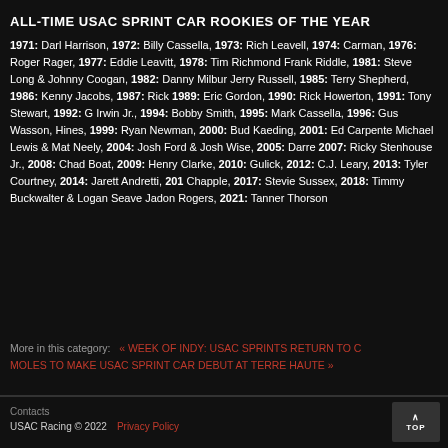ALL-TIME USAC SPRINT CAR ROOKIES OF THE YEAR
1971: Darl Harrison, 1972: Billy Cassella, 1973: Rich Leavell, 1974: Carman, 1976: Roger Rager, 1977: Eddie Leavitt, 1978: Tim Richmond Frank Riddle, 1981: Steve Long & Johnny Coogan, 1982: Danny Milburn Jerry Russell, 1985: Terry Shepherd, 1986: Kenny Jacobs, 1987: Rick 1989: Eric Gordon, 1990: Rick Howerton, 1991: Tony Stewart, 1992: Ga Irwin Jr., 1994: Bobby Smith, 1995: Mark Cassella, 1996: Gus Wasson, Hines, 1999: Ryan Newman, 2000: Bud Kaeding, 2001: Ed Carpente Michael Lewis & Mat Neely, 2004: Josh Ford & Josh Wise, 2005: Darre 2007: Ricky Stenhouse Jr., 2008: Chad Boat, 2009: Henry Clarke, 2010: Gulick, 2012: C.J. Leary, 2013: Tyler Courtney, 2014: Jarett Andretti, 201 Chapple, 2017: Stevie Sussex, 2018: Timmy Buckwalter & Logan Seave Jadon Rogers, 2021: Tanner Thorson
More in this category: « WEEK OF INDY: USAC SPRINTS RETURN TO C MOLES TO MAKE USAC SPRINT CAR DEBUT AT TERRE HAUTE »
Contacts
USAC Racing © 2022   Privacy Policy